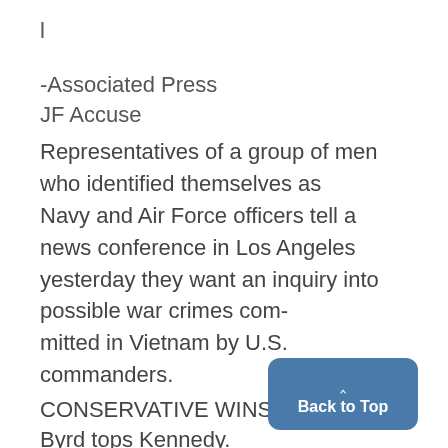l
-Associated Press
JF Accuse
Representatives of a group of men who identified themselves as Navy and Air Force officers tell a news conference in Los Angeles yesterday they want an inquiry into possible war crimes com- mitted in Vietnam by U.S. commanders.
CONSERVATIVE WINS:
Byrd tops Kennedy.
for ev lem. post